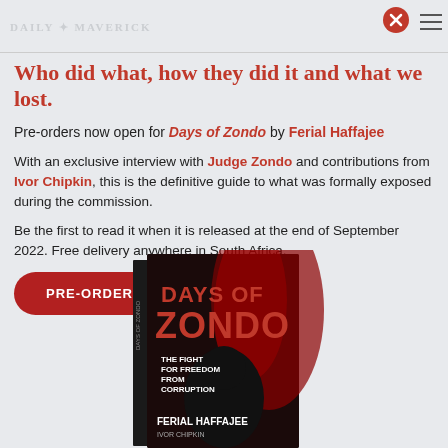DAILY MAVERICK
Who did what, how they did it and what we lost.
Pre-orders now open for Days of Zondo by Ferial Haffajee
With an exclusive interview with Judge Zondo and contributions from Ivor Chipkin, this is the definitive guide to what was formally exposed during the commission.
Be the first to read it when it is released at the end of September 2022. Free delivery anywhere in South Africa.
PRE-ORDER NOW
[Figure (photo): Book cover of 'Days of Zondo: The Fight for Freedom from Corruption' by Ferial Haffajee and Ivor Chipkin. Dark cover with bold red and white text, showing a silhouette.]